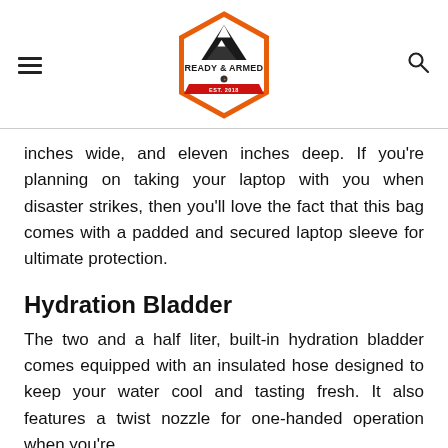Ready & Armed
inches wide, and eleven inches deep. If you’re planning on taking your laptop with you when disaster strikes, then you’ll love the fact that this bag comes with a padded and secured laptop sleeve for ultimate protection.
Hydration Bladder
The two and a half liter, built-in hydration bladder comes equipped with an insulated hose designed to keep your water cool and tasting fresh. It also features a twist nozzle for one-handed operation when you’re